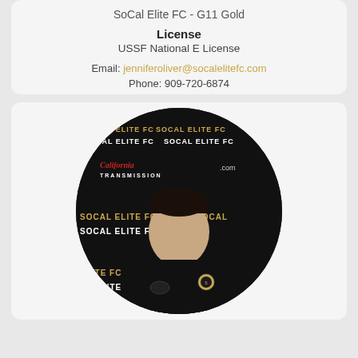SoCal Elite FC - G11 Gold
License
USSF National E License
Email: jenniferoliver@socalelitefc.com
Phone: 909-720-6874
[Figure (photo): Circular portrait photo of a man in a black SoCal Elite FC polo shirt, standing in front of a SoCal Elite FC step-and-repeat banner with California Transmission sponsor logo visible]